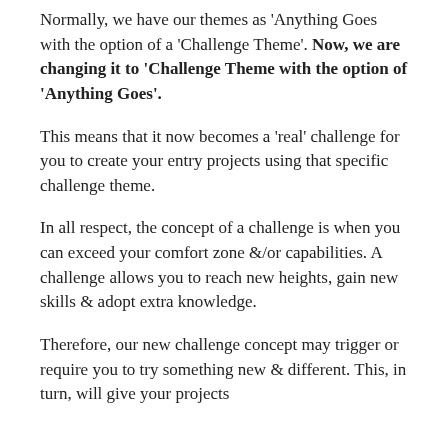Normally, we have our themes as 'Anything Goes with the option of a 'Challenge Theme'. Now, we are changing it to 'Challenge Theme with the option of 'Anything Goes'.
This means that it now becomes a 'real' challenge for you to create your entry projects using that specific challenge theme.
In all respect, the concept of a challenge is when you can exceed your comfort zone &/or capabilities. A challenge allows you to reach new heights, gain new skills & adopt extra knowledge.
Therefore, our new challenge concept may trigger or require you to try something new & different. This, in turn, will give your projects